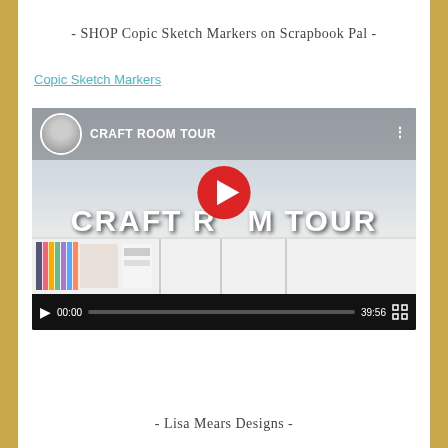- SHOP Copic Sketch Markers on Scrapbook Pal -
Copic Sketch Markers
[Figure (screenshot): YouTube video thumbnail for 'Craft Room Tour' showing a craft room with white shelving units, craft supplies, and a YouTube play button overlay. Video controls show time 00:00 and duration 39:56.]
- Lisa Mears Designs -